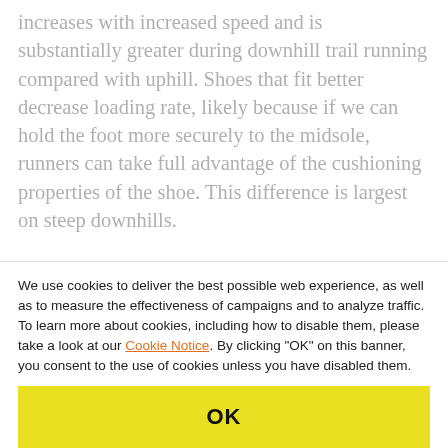increases with increased speed and is substantially greater during downhill trail running compared with uphill. Shoes that fit better decrease loading rate, likely because if we can hold the foot more securely to the midsole, runners can take full advantage of the cushioning properties of the shoe. This difference is largest on steep downhills.
QUANTIFYING HEEL HOLD IN RUNNING
We use cookies to deliver the best possible web experience, as well as to measure the effectiveness of campaigns and to analyze traffic. To learn more about cookies, including how to disable them, please take a look at our Cookie Notice. By clicking "OK" on this banner, you consent to the use of cookies unless you have disabled them.